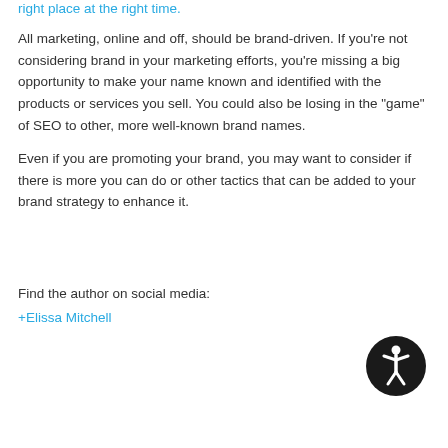right place at the right time.
All marketing, online and off, should be brand-driven. If you're not considering brand in your marketing efforts, you're missing a big opportunity to make your name known and identified with the products or services you sell. You could also be losing in the "game" of SEO to other, more well-known brand names.
Even if you are promoting your brand, you may want to consider if there is more you can do or other tactics that can be added to your brand strategy to enhance it.
[Figure (illustration): Accessibility icon: dark circle with white stick figure person with arms raised]
Find the author on social media:
+Elissa Mitchell